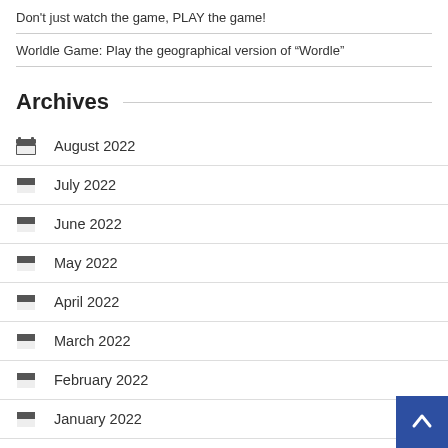Don't just watch the game, PLAY the game!
Worldle Game: Play the geographical version of “Wordle”
Archives
August 2022
July 2022
June 2022
May 2022
April 2022
March 2022
February 2022
January 2022